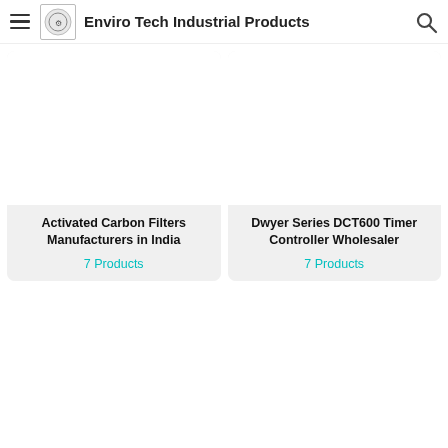Enviro Tech Industrial Products
Activated Carbon Filters Manufacturers in India
7 Products
Dwyer Series DCT600 Timer Controller Wholesaler
7 Products
[Figure (other): Product card image placeholder (bottom left)]
[Figure (other): Product card image placeholder (bottom right)]